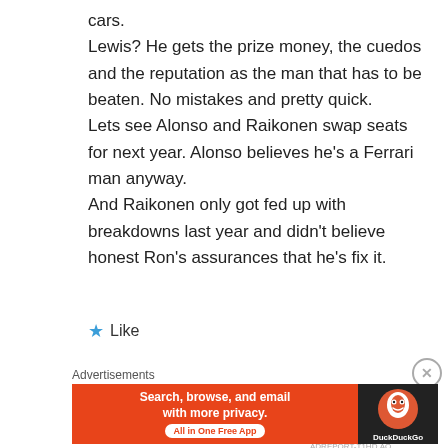cars.
Lewis? He gets the prize money, the cuedos and the reputation as the man that has to be beaten. No mistakes and pretty quick.
Lets see Alonso and Raikonen swap seats for next year. Alonso believes he's a Ferrari man anyway.
And Raikonen only got fed up with breakdowns last year and didn't believe honest Ron's assurances that he's fix it.
★ Like
Advertisements
[Figure (other): DuckDuckGo advertisement banner: 'Search, browse, and email with more privacy. All in One Free App' with DuckDuckGo logo on dark background]